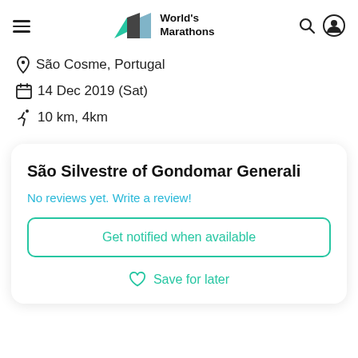World's Marathons
São Cosme, Portugal
14 Dec 2019 (Sat)
10 km, 4km
São Silvestre of Gondomar Generali
No reviews yet. Write a review!
Get notified when available
Save for later